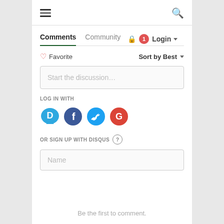[Figure (screenshot): Top navigation bar with hamburger menu icon on the left and search icon on the right]
Comments  Community  🔒  1  Login ▾
♡ Favorite   Sort by Best ▾
Start the discussion…
LOG IN WITH
[Figure (infographic): Social login icons: Disqus (blue speech bubble with D), Facebook (dark blue circle with f), Twitter (light blue circle with bird), Google (red circle with G)]
OR SIGN UP WITH DISQUS ?
Name
Be the first to comment.